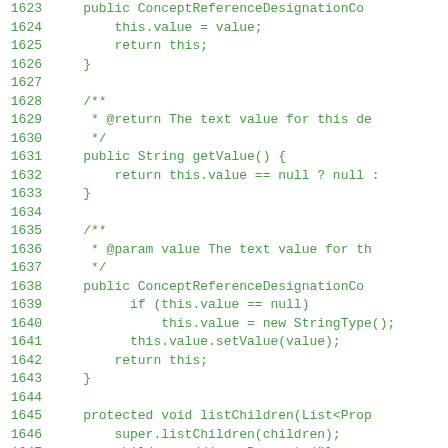[Figure (screenshot): Code listing showing Java source code lines 1623-1651, displayed in monospace green font on white background. The code shows methods including getValue() and listChildren() within a ConceptReferenceDesignation class.]